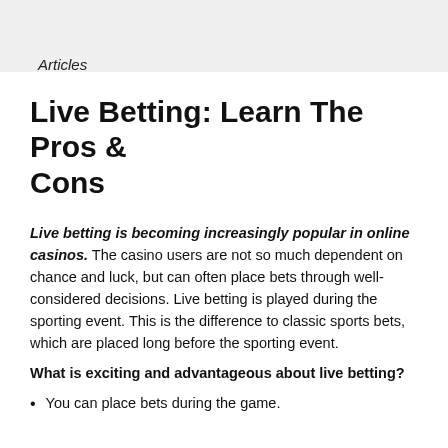Articles
Live Betting: Learn The Pros & Cons
Live betting is becoming increasingly popular in online casinos. The casino users are not so much dependent on chance and luck, but can often place bets through well-considered decisions. Live betting is played during the sporting event. This is the difference to classic sports bets, which are placed long before the sporting event.
What is exciting and advantageous about live betting?
You can place bets during the game.